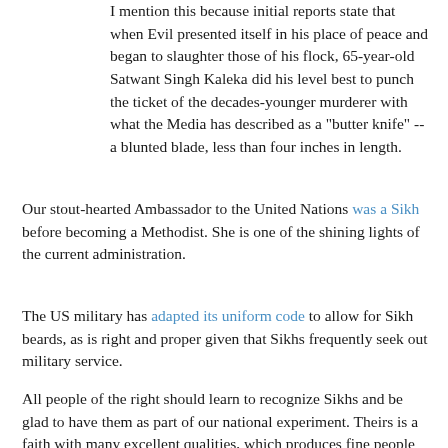I mention this because initial reports state that when Evil presented itself in his place of peace and began to slaughter those of his flock, 65-year-old Satwant Singh Kaleka did his level best to punch the ticket of the decades-younger murderer with what the Media has described as a "butter knife" -- a blunted blade, less than four inches in length.
Our stout-hearted Ambassador to the United Nations was a Sikh before becoming a Methodist. She is one of the shining lights of the current administration.
The US military has adapted its uniform code to allow for Sikh beards, as is right and proper given that Sikhs frequently seek out military service.
All people of the right should learn to recognize Sikhs and be glad to have them as part of our national experiment. Theirs is a faith with many excellent qualities, which produces fine people on a reliably regular basis. Make some room for them.